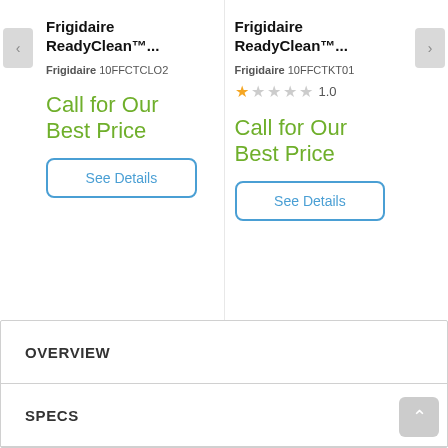Frigidaire ReadyClean™...
Frigidaire 10FFCTCLO2
Call for Our Best Price
See Details
Frigidaire ReadyClean™...
Frigidaire 10FFCTKT01
1.0
Call for Our Best Price
See Details
OVERVIEW
SPECS